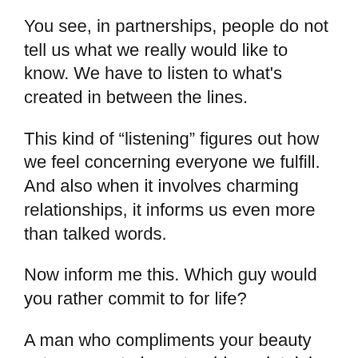You see, in partnerships, people do not tell us what we really would like to know. We have to listen to what's created in between the lines.
This kind of “listening” figures out how we feel concerning everyone we fulfill. And also when it involves charming relationships, it informs us even more than talked words.
Now inform me this. Which guy would you rather commit to for life?
A man who compliments your beauty yet appears to have trouble maintaining his eyes off other women? Or a male that is reserved with his praises, yet seems to have eyes just for you?